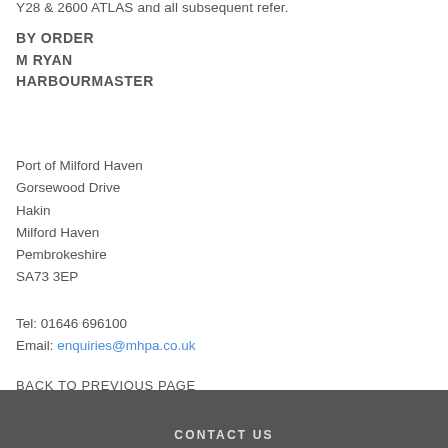Y28 & 2600 ATLAS and all subsequent refer.
BY ORDER
M RYAN
HARBOURMASTER
Port of Milford Haven
Gorsewood Drive
Hakin
Milford Haven
Pembrokeshire
SA73 3EP
Tel: 01646 696100
Email: enquiries@mhpa.co.uk
BACK TO PREVIOUS PAGE
CONTACT US